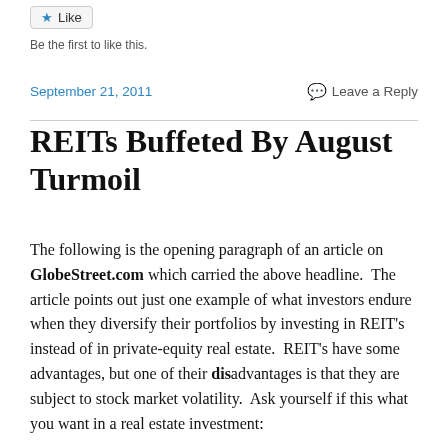Like
Be the first to like this.
September 21, 2011
Leave a Reply
REITs Buffeted By August Turmoil
The following is the opening paragraph of an article on GlobeStreet.com which carried the above headline.  The article points out just one example of what investors endure when they diversify their portfolios by investing in REIT's instead of in private-equity real estate.  REIT's have some advantages, but one of their disadvantages is that they are subject to stock market volatility.  Ask yourself if this what you want in a real estate investment: